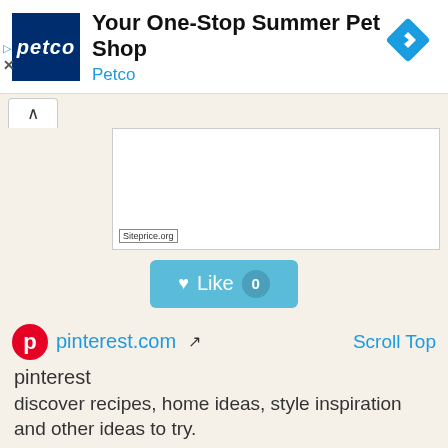[Figure (screenshot): Petco advertisement banner showing Petco logo, 'Your One-Stop Summer Pet Shop' headline, Petco branding, and a blue diamond navigation icon]
[Figure (screenshot): Website screenshot area showing a white box with Siteprice.org watermark label, tab/accordion UI, and a Like button with count 0]
pinterest.com
Scroll Top
pinterest
discover recipes, home ideas, style inspiration and other ideas to try.
Semrush Rank: 9
Facebook ♡: 1,458,240